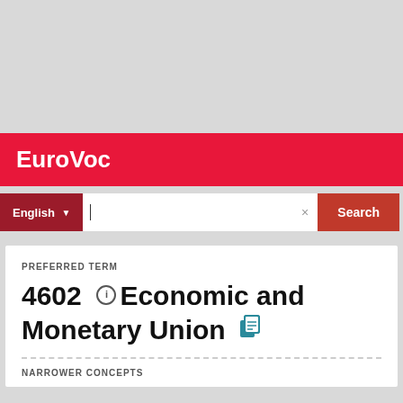EuroVoc
PREFERRED TERM
4602 Economic and Monetary Union
NARROWER CONCEPTS